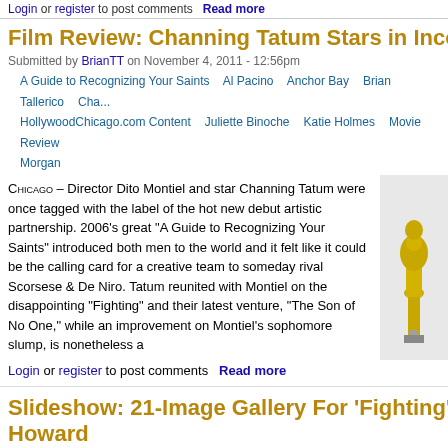Login or register to post comments  Read more
Film Review: Channing Tatum Stars in Inconsisten...
Submitted by BrianTT on November 4, 2011 - 12:56pm
A Guide to Recognizing Your Saints  Al Pacino  Anchor Bay  Brian Tallerico  Cha... HollywoodChicago.com Content  Juliette Binoche  Katie Holmes  Movie Review... Morgan
CHICAGO – Director Dito Montiel and star Channing Tatum were once tagged with the label of the hot new debut artistic partnership. 2006's great “A Guide to Recognizing Your Saints” introduced both men to the world and it felt like it could be the calling card for a creative team to someday rival Scorsese & De Niro. Tatum reunited with Montiel on the disappointing “Fighting” and their latest venture, “The Son of No One,” while an improvement on Montiel’s sophomore slump, is nonetheless a
Login or register to post comments  Read more
Slideshow: 21-Image Gallery For ‘Fighting’ With Ch... Howard
Submitted by BrianTT on April 6, 2009 - 10:46am
Brian Tallerico  Brian White  Channing Tatum  Dante Nero  Dito Montiel  Fighti... HollywoodChicago.com Slideshow  Luis Guzman  Terrence Howard  Zulay Henao...
Previous | Image 1 of 21 | Next
[Figure (photo): Dark photo still from Fighting film]